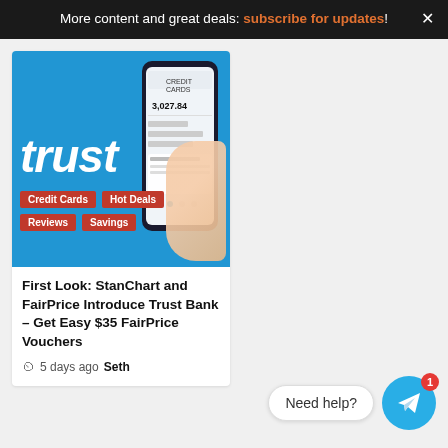More content and great deals: subscribe for updates! ×
[Figure (screenshot): Trust Bank promotional image with blue background showing the word 'trust' in white italic text, a hand holding a smartphone displaying a credit card app interface, and four red tag buttons: Credit Cards, Hot Deals, Reviews, Savings]
First Look: StanChart and FairPrice Introduce Trust Bank – Get Easy $35 FairPrice Vouchers
5 days ago  Seth